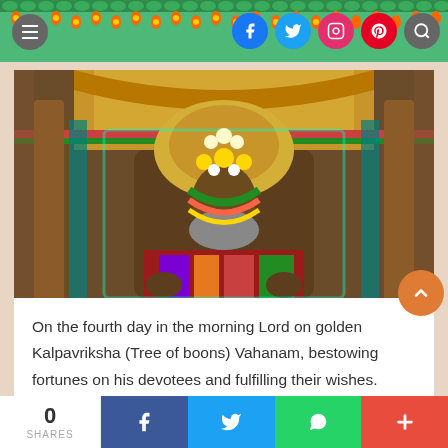Navigation header with menu icon and social media icons (Facebook, Twitter, Instagram, Pinterest, Search)
[Figure (photo): Hindu deity idol adorned with golden decorations, colorful garlands, and elaborate ornaments, seated on a decorated throne inside a temple. The idol is richly decorated with jewels and traditional accessories.]
On the fourth day in the morning Lord on golden Kalpavriksha (Tree of boons) Vahanam, bestowing fortunes on his devotees and fulfilling their wishes.
0 SHARES | Facebook share | Twitter share | WhatsApp share | More